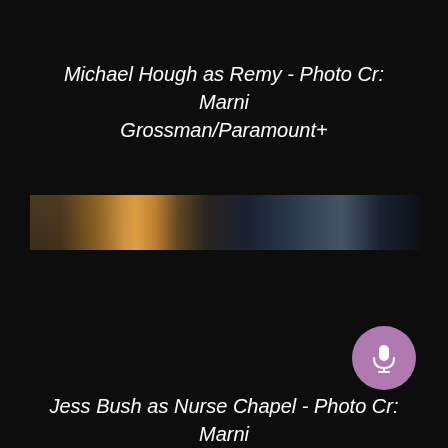Michael Hough as Remy - Photo Cr: Marni Grossman/Paramount+
[Figure (photo): A horizontal strip showing a dark cinematic scene with warm amber/orange backlight, appearing to be a still from a TV show or movie]
[Figure (other): Purple circular microphone button UI element]
Jess Bush as Nurse Chapel - Photo Cr: Marni